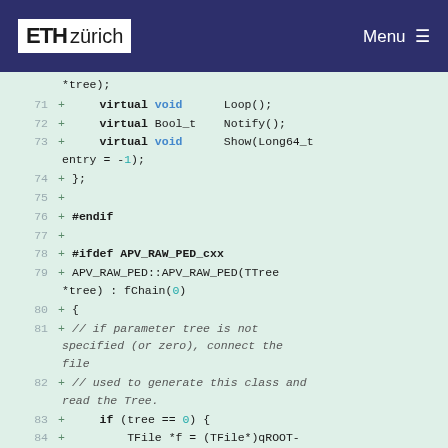ETH zürich  Menu
[Figure (screenshot): Code diff view showing lines 71-84 of a C++ file (APV_RAW_PED) with added lines marked with '+'. Content includes virtual method declarations (Loop, Notify, Show), preprocessor directives (#endif, #ifdef APV_RAW_PED_cxx), constructor definition, and comments about parameter tree handling.]